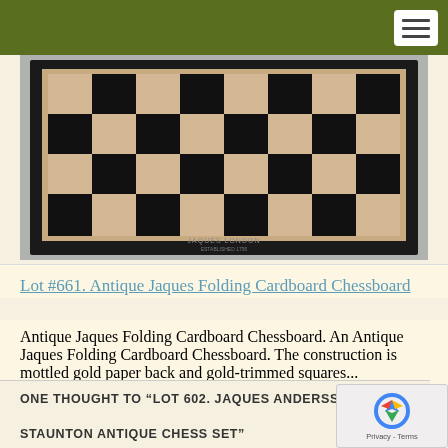[Figure (photo): Antique Jaques folding cardboard chessboard viewed from above, showing alternating dark and light squares with black border trim and gold detailing.]
Lot #661. Antique Jaques Folding Cardboard Chessboard
Antique Jaques Folding Cardboard Chessboard. An Antique Jaques Folding Cardboard Chessboard. The construction is mottled gold paper back and gold-trimmed squares...
ONE THOUGHT TO “LOT 602. JAQUES ANDERSSEN STAUNTON ANTIQUE CHESS SET”